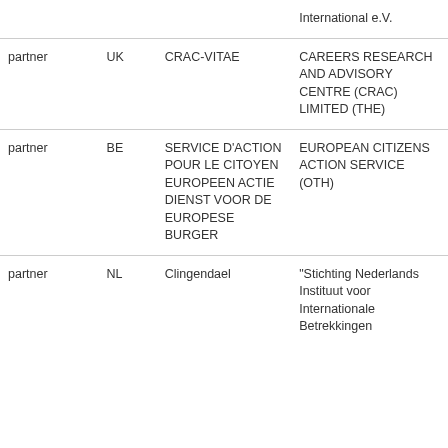| Role | Country | Short name | Full name |
| --- | --- | --- | --- |
|  |  |  | International e.V. |
| partner | UK | CRAC-VITAE | CAREERS RESEARCH AND ADVISORY CENTRE (CRAC) LIMITED (THE) |
| partner | BE | SERVICE D'ACTION POUR LE CITOYEN EUROPEEN ACTIE DIENST VOOR DE EUROPESE BURGER | EUROPEAN CITIZENS ACTION SERVICE (OTH) |
| partner | NL | Clingendael | "Stichting Nederlands Instituut voor Internationale Betrekkingen ""Clingendael"" |